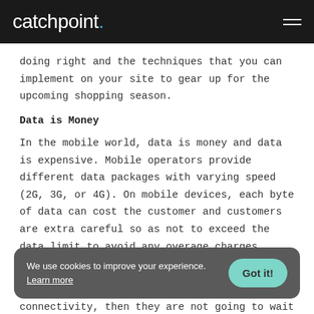catchpoint.
doing right and the techniques that you can implement on your site to gear up for the upcoming shopping season.
Data is Money
In the mobile world, data is money and data is expensive. Mobile operators provide different data packages with varying speed (2G, 3G, or 4G). On mobile devices, each byte of data can cost the customer and customers are extra careful so as not to exceed the data limit to avoid any overage charges.
If a user is on a slow connection or if the user is in an area that has limited connectivity, then they are not going to wait ti... connection speed.
We use cookies to improve your experience. Learn more  Got it!